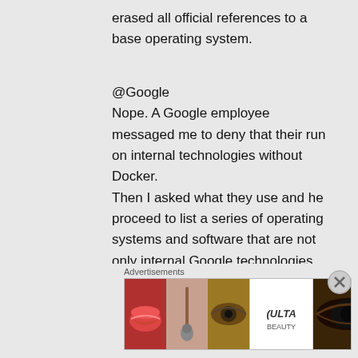erased all official references to a base operating system.
@Google
Nope. A Google employee messaged me to deny that their run on internal technologies without Docker.
Then I asked what they use and he proceed to list a series of operating systems and software that are not only internal Google technologies, but purposefully NOT packaged for use by the rest of the world (that should use CoreOS) by his own world
Advertisements
[Figure (photo): Advertisement banner for ULTA beauty products showing makeup images and SHOP NOW text]